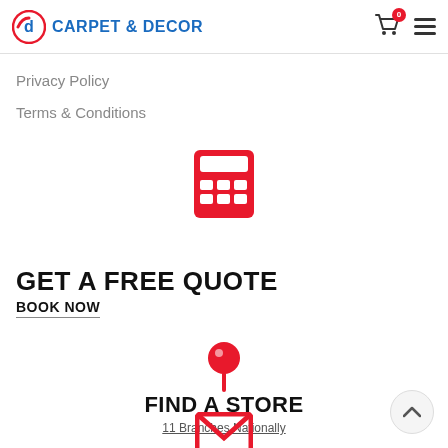CARPET & DECOR
Privacy Policy
Terms & Conditions
[Figure (illustration): Red calculator icon]
GET A FREE QUOTE
BOOK NOW
[Figure (illustration): Red map pin / location marker icon]
FIND A STORE
11 Branches Nationally
[Figure (illustration): Red envelope / email icon (partially visible at bottom)]